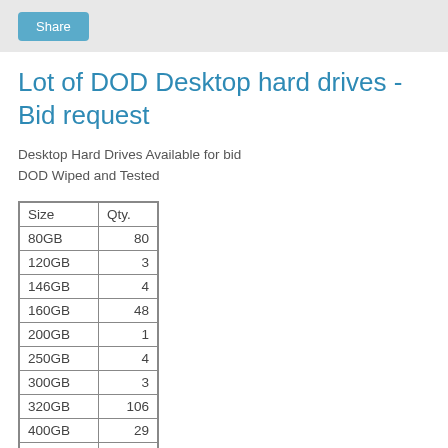Share
Lot of DOD Desktop hard drives - Bid request
Desktop Hard Drives Available for bid
DOD Wiped and Tested
| Size | Qty. |
| --- | --- |
| 80GB | 80 |
| 120GB | 3 |
| 146GB | 4 |
| 160GB | 48 |
| 200GB | 1 |
| 250GB | 4 |
| 300GB | 3 |
| 320GB | 106 |
| 400GB | 29 |
| 500GB | 383 |